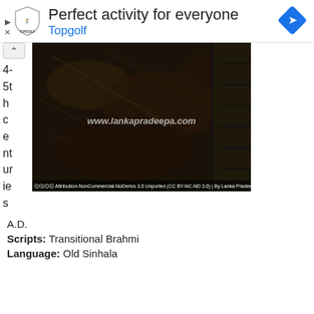[Figure (screenshot): Advertisement banner for Topgolf showing logo, text 'Perfect activity for everyone', 'Topgolf', a navigation diamond icon, play and close icons]
[Figure (photo): Close-up photograph of a dark, textured ancient rock surface with inscriptions, watermarked www.lankapradeepa.com, with Creative Commons license bar at bottom: Attribution-NonCommercial-NoDerivs 3.0 Unported (CC BY-NC-ND 3.0) | By Lanka Pradeepa. A stone staircase is visible on the right side.]
4-5th centuries A.D.
Scripts: Transitional Brahmi
Language: Old Sinhala